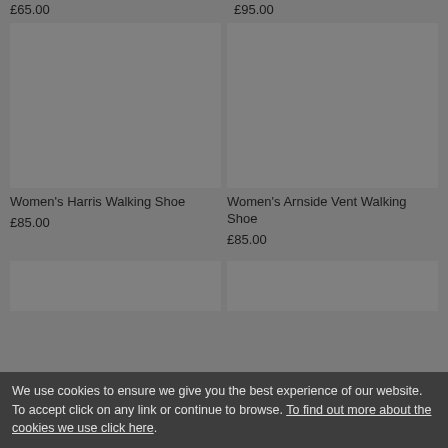£65.00
£95.00
[Figure (photo): Product image placeholder for Women's Harris Walking Shoe]
[Figure (photo): Product image placeholder for Women's Arnside Vent Walking Shoe]
Women's Harris Walking Shoe
£85.00
Women's Arnside Vent Walking Shoe
£85.00
[Figure (photo): Partial product image at bottom left]
[Figure (photo): Partial product image at bottom right]
We use cookies to ensure we give you the best experience of our website. To accept click on any link or continue to browse. To find out more about the cookies we use click here.